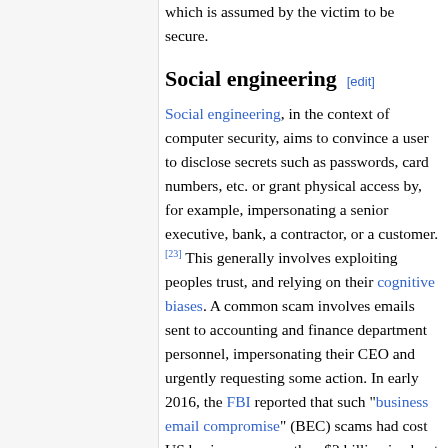which is assumed by the victim to be secure.
Social engineering [edit]
Social engineering, in the context of computer security, aims to convince a user to disclose secrets such as passwords, card numbers, etc. or grant physical access by, for example, impersonating a senior executive, bank, a contractor, or a customer.[23] This generally involves exploiting peoples trust, and relying on their cognitive biases. A common scam involves emails sent to accounting and finance department personnel, impersonating their CEO and urgently requesting some action. In early 2016, the FBI reported that such "business email compromise" (BEC) scams had cost US businesses more than $2 billion in about two